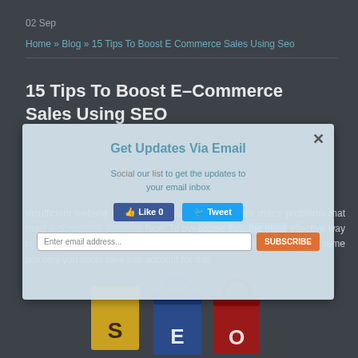02 Sep
Home » Blog » 15 Tips To Boost E Commerce Sales Using Seo
15 Tips To Boost E-Commerce Sales Using SEO
[Figure (screenshot): Modal popup overlay titled 'Get Updates Via Email' with Facebook Like and Tweet buttons, and an email subscription input field with Subscribe button and close X button]
Insufficient website traffic and sales conversions are major problems that most e-commerce websites face. To overcome this, the most effective way is to draft a suitable search engine optimization strategy. There are some pointers you could take into account for this.
[Figure (illustration): Three shopping bags labeled S, E, O in golden, blue, and red colors respectively]